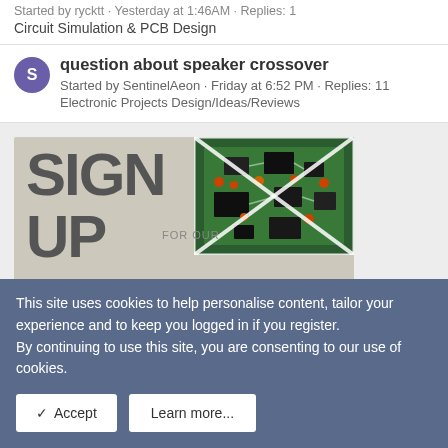Started by rycktt · Yesterday at 1:46 AM · Replies: 1
Circuit Simulation & PCB Design
question about speaker crossover
Started by SentinelAeon · Friday at 6:52 PM · Replies: 11
Electronic Projects Design/Ideas/Reviews
[Figure (illustration): Sign Up For Our Newsletter banner with PCB circuit board image in the background]
[Figure (illustration): Design Guide On banner, brought to you by EEworld Online]
This site uses cookies to help personalise content, tailor your experience and to keep you logged in if you register.
By continuing to use this site, you are consenting to our use of cookies.
✓ Accept   Learn more...